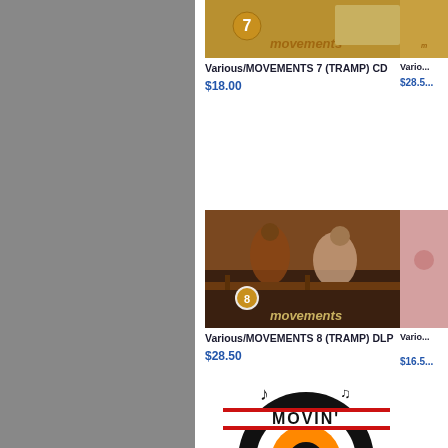[Figure (photo): Album cover for Movements 7 (Tramp) CD - golden/tan colored cover with 'movements' text]
Various/MOVEMENTS 7 (TRAMP) CD
$18.00
[Figure (photo): Partial album cover of right column item, price $28.50]
Vario...
$28.5...
[Figure (photo): Album cover for Movements 8 (Tramp) DLP - brown toned cover showing two women in a bar/cafe setting with 'movements 8' text]
Various/MOVEMENTS 8 (TRAMP) DLP
$28.50
[Figure (photo): Partial right column album cover, salmon/pink colored, price $16.50]
Vario...
$16.5...
[Figure (photo): Movin' logo - black circular design with orange and checkered pattern lettering]